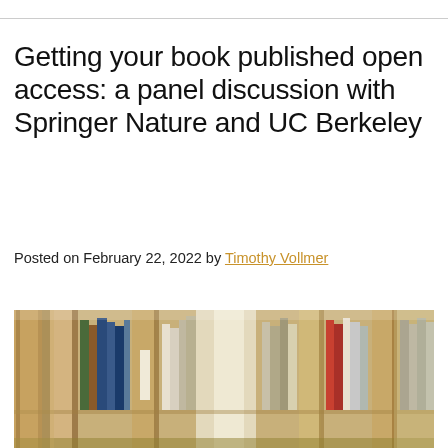Getting your book published open access: a panel discussion with Springer Nature and UC Berkeley
Posted on February 22, 2022 by Timothy Vollmer
[Figure (photo): Library bookshelves with wooden dividers and colorful books, photographed with shallow depth of field. Books of various colors visible including blue and white spines.]